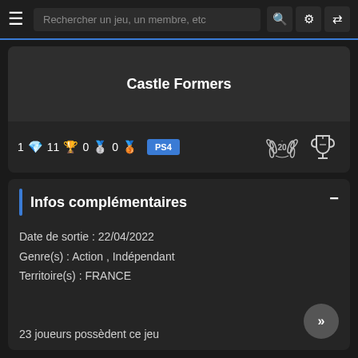Rechercher un jeu, un membre, etc
Castle Formers
1 🔵 11 🏆 0 🥈 0 🥉  PS4
Infos complémentaires
Date de sortie : 22/04/2022
Genre(s) : Action , Indépendant
Territoire(s) : FRANCE
23 joueurs possèdent ce jeu